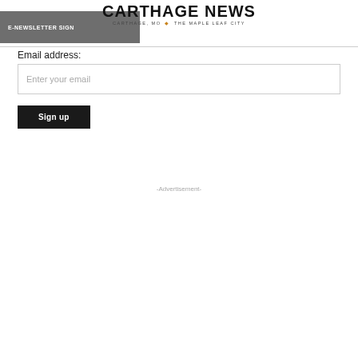CARTHAGE NEWS — CARTHAGE, MO · THE MAPLE LEAF CITY
E-NEWSLETTER SIGN
Email address:
Enter your email
Sign up
-Advertisement-